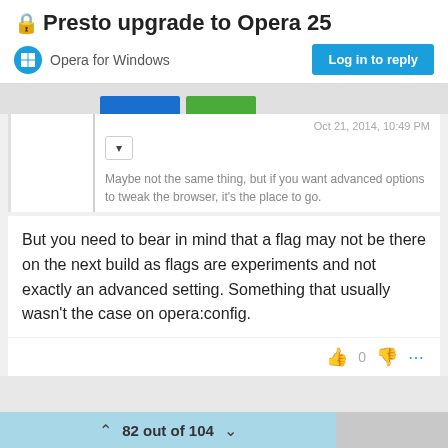🔒 Presto upgrade to Opera 25
Opera for Windows
Log in to reply
Oct 21, 2014, 10:49 PM
Maybe not the same thing, but if you want advanced options to tweak the browser, it's the place to go.
But you need to bear in mind that a flag may not be there on the next build as flags are experiments and not exactly an advanced setting. Something that usually wasn't the case on opera:config.
82 out of 104